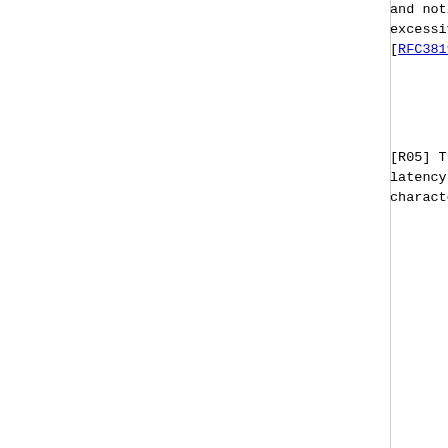and notifies the next hop of excessive retransmissions [RFC3819].
[R05] The design of routing to meet latency requirements of application characteristics.
Latency requirements may range from milliseconds to minutes depending on use. Real-time building automation requires times below 500 ms between nodes, security alerts must be forwarded to devices within 5 seconds, control applications for industrial processes that can be as low as 1 ms, tolerance of latencies above 1 second, other applications allow latencies to be used for reporting sensors on the order of seconds to minutes.